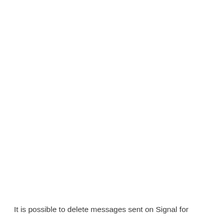It is possible to delete messages sent on Signal for